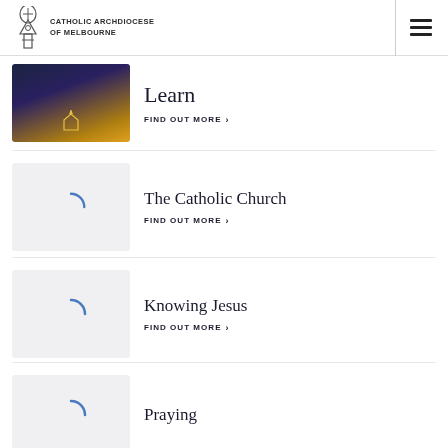CATHOLIC ARCHDIOCESE OF MELBOURNE
[Figure (photo): Photo of a cathedral at night with golden illumination]
Learn
FIND OUT MORE >
[Figure (other): Loading spinner placeholder image]
The Catholic Church
FIND OUT MORE >
[Figure (other): Loading spinner placeholder image]
Knowing Jesus
FIND OUT MORE >
[Figure (other): Loading spinner placeholder image]
Praying